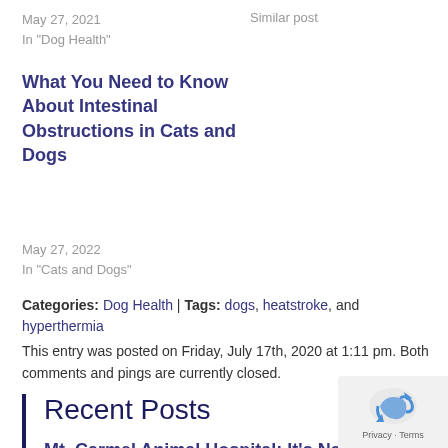May 27, 2021
In "Dog Health"
Similar post
What You Need to Know About Intestinal Obstructions in Cats and Dogs
May 27, 2022
In "Cats and Dogs"
Categories: Dog Health | Tags: dogs, heatstroke, and hyperthermia
This entry was posted on Friday, July 17th, 2020 at 1:11 pm. Both comments and pings are currently closed.
Recent Posts
Mt. Carmel Animal Hospital: It's National B... Your Cat to the Vet